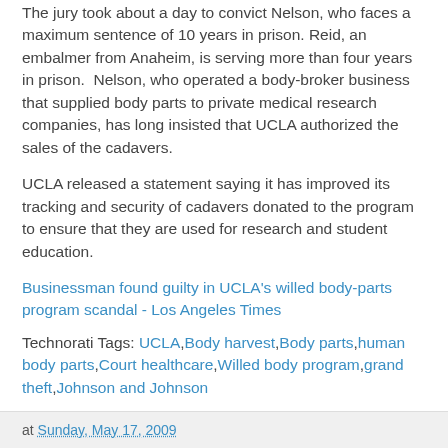The jury took about a day to convict Nelson, who faces a maximum sentence of 10 years in prison. Reid, an embalmer from Anaheim, is serving more than four years in prison. Nelson, who operated a body-broker business that supplied body parts to private medical research companies, has long insisted that UCLA authorized the sales of the cadavers.
UCLA released a statement saying it has improved its tracking and security of cadavers donated to the program to ensure that they are used for research and student education.
Businessman found guilty in UCLA's willed body-parts program scandal - Los Angeles Times
Technorati Tags: UCLA,Body harvest,Body parts,human body parts,Court healthcare,Willed body program,grand theft,Johnson and Johnson
at Sunday, May 17, 2009